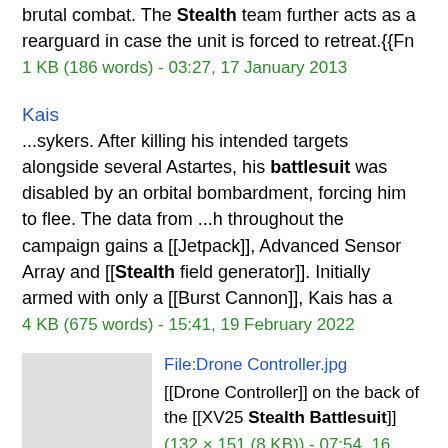brutal combat. The Stealth team further acts as a rearguard in case the unit is forced to retreat.{{Fn
1 KB (186 words) - 03:27, 17 January 2013
Kais
...sykers. After killing his intended targets alongside several Astartes, his battlesuit was disabled by an orbital bombardment, forcing him to flee. The data from ...h throughout the campaign gains a [[Jetpack]], Advanced Sensor Array and [[Stealth field generator]]. Initially armed with only a [[Burst Cannon]], Kais has a
4 KB (675 words) - 15:41, 19 February 2022
File:Drone Controller.jpg
[[Drone Controller]] on the back of the [[XV25 Stealth Battlesuit]]
(132 × 151 (8 KB)) - 07:54, 16 March